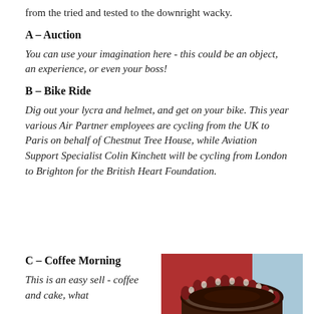from the tried and tested to the downright wacky.
A – Auction
You can use your imagination here - this could be an object, an experience, or even your boss!
B – Bike Ride
Dig out your lycra and helmet, and get on your bike. This year various Air Partner employees are cycling from the UK to Paris on behalf of Chestnut Tree House, while Aviation Support Specialist Colin Kinchett will be cycling from London to Brighton for the British Heart Foundation.
C – Coffee Morning
This is an easy sell - coffee and cake, what
[Figure (photo): Photo of a decorated cake with chocolate and cream toppings on a red and blue background]